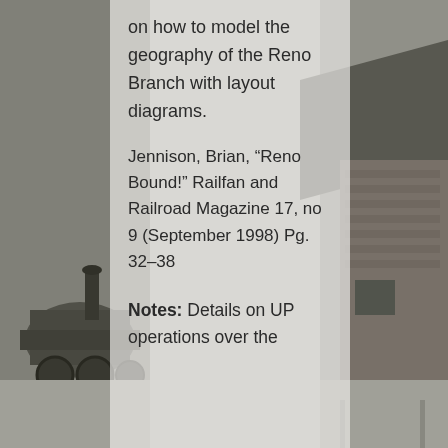[Figure (photo): Black and white photograph of a steam locomotive on the left side and a stone/brick station building on the right side, serving as a background image behind the text overlay.]
on how to model the geography of the Reno Branch with layout diagrams.
Jennison, Brian, “Reno Bound!” Railfan and Railroad Magazine 17, no 9 (September 1998) Pg. 32–38
Notes: Details on UP operations over the